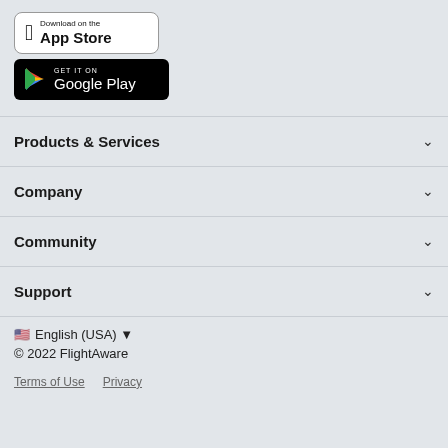[Figure (logo): Download on the App Store button]
[Figure (logo): GET IT ON Google Play button]
Products & Services
Company
Community
Support
🇺🇸 English (USA) ▼
© 2022 FlightAware
Terms of Use   Privacy